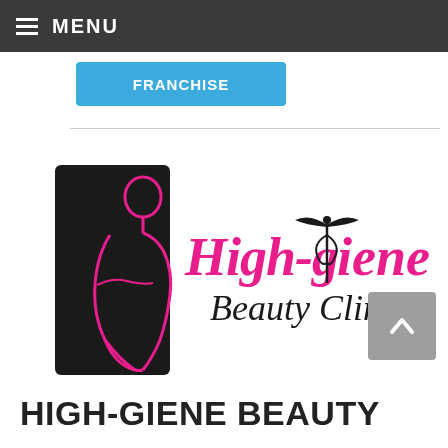≡ MENU
FRANCHISE
[Figure (logo): High-giene Beauty Clinic logo: black rectangle with pink silhouette of a woman's torso on the left; pink and black cursive text reading 'High-giene Beauty Clinic' with a caduceus medical symbol integrated into the letter 'g']
HIGH-GIENE BEAUTY